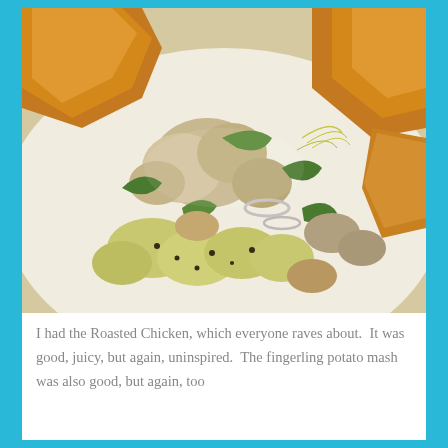[Figure (photo): Close-up photo of a roasted chicken dish on a white plate, with fingerling potatoes, arugula, onions, mushrooms, and crispy chicken skin pieces arranged together.]
I had the Roasted Chicken, which everyone raves about.  It was good, juicy, but again, uninspired.  The fingerling potato mash was also good, but again, too